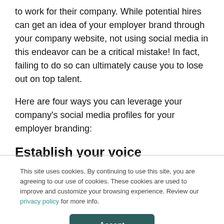to work for their company. While potential hires can get an idea of your employer brand through your company website, not using social media in this endeavor can be a critical mistake! In fact, failing to do so can ultimately cause you to lose out on top talent.
Here are four ways you can leverage your company's social media profiles for your employer branding:
Establish your voice
This site uses cookies. By continuing to use this site, you are agreeing to our use of cookies. These cookies are used to improve and customize your browsing experience. Review our privacy policy for more info.